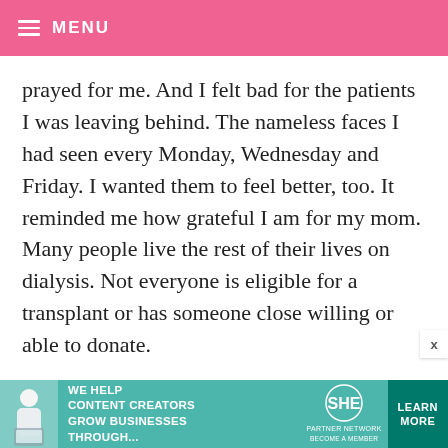MENU
prayed for me. And I felt bad for the patients I was leaving behind. The nameless faces I had seen every Monday, Wednesday and Friday. I wanted them to feel better, too. It reminded me how grateful I am for my mom. Many people live the rest of their lives on dialysis. Not everyone is eligible for a transplant or has someone close willing or able to donate.
If you’ve thought about organ donation before, please think about it again and the people laying i…
[Figure (infographic): Advertisement banner for SHE Media Partner Network: 'We help content creators grow businesses through...' with a Learn More button.]